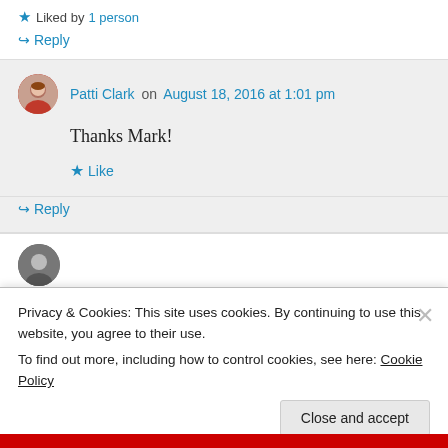★ Liked by 1 person
↪ Reply
Patti Clark on August 18, 2016 at 1:01 pm
Thanks Mark!
★ Like
↪ Reply
Privacy & Cookies: This site uses cookies. By continuing to use this website, you agree to their use. To find out more, including how to control cookies, see here: Cookie Policy
Close and accept